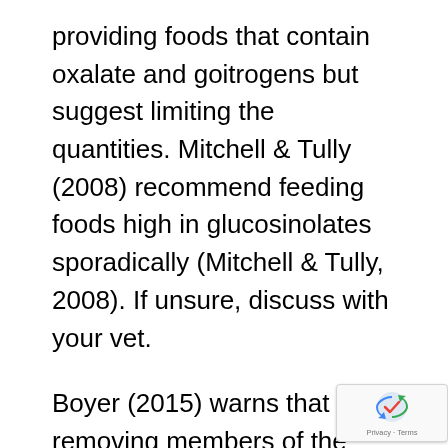providing foods that contain oxalate and goitrogens but suggest limiting the quantities. Mitchell & Tully (2008) recommend feeding foods high in glucosinolates sporadically (Mitchell & Tully, 2008). If unsure, discuss with your vet.
Boyer (2015) warns that removing members of the Brassica family is not necessary and based on misconceptions. Boyer advises that Brassica vegetables ability to cause thyroid problems (goiter) are not proven and are suitable for feeding as part of a balanced diet. Boyers (2015) advise extends to foods